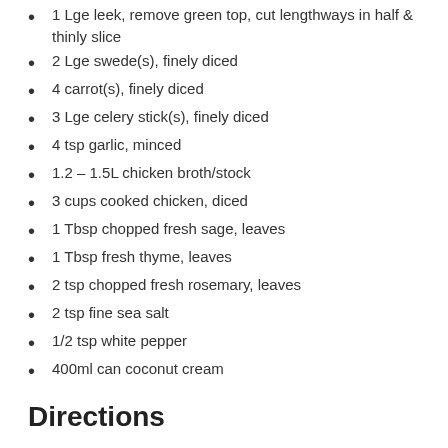1 Lge leek, remove green top, cut lengthways in half & thinly slice
2 Lge swede(s), finely diced
4 carrot(s), finely diced
3 Lge celery stick(s), finely diced
4 tsp garlic, minced
1.2 – 1.5L chicken broth/stock
3 cups cooked chicken, diced
1 Tbsp chopped fresh sage, leaves
1 Tbsp fresh thyme, leaves
2 tsp chopped fresh rosemary, leaves
2 tsp fine sea salt
1/2 tsp white pepper
400ml can coconut cream
Directions